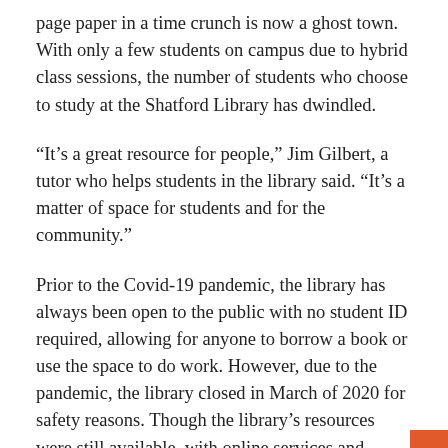page paper in a time crunch is now a ghost town. With only a few students on campus due to hybrid class sessions, the number of students who choose to study at the Shatford Library has dwindled.
“It’s a great resource for people,” Jim Gilbert, a tutor who helps students in the library said. “It’s a matter of space for students and for the community.”
Prior to the Covid-19 pandemic, the library has always been open to the public with no student ID required, allowing for anyone to borrow a book or use the space to do work. However, due to the pandemic, the library closed in March of 2020 for safety reasons. Though the library’s resources were still available, with online services and books, laptops borrowed were available for checkout, but the study space for students was